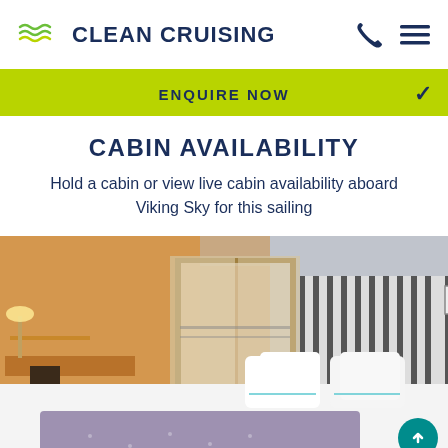CLEAN CRUISING
ENQUIRE NOW
CABIN AVAILABILITY
Hold a cabin or view live cabin availability aboard Viking Sky for this sailing
[Figure (photo): Interior photo of a cruise ship cabin showing a large bed with white pillows and duvet, striped headboard, reading lamps, a desk area on the left with a chair, orange/warm ambient lighting, and a balcony with sheer curtains in the background]